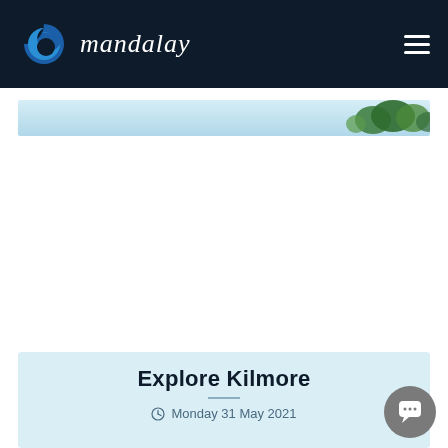mandalay
[Figure (photo): Partial hero image strip showing a light blue sky and green trees on the right side]
Explore Kilmore
Monday 31 May 2021